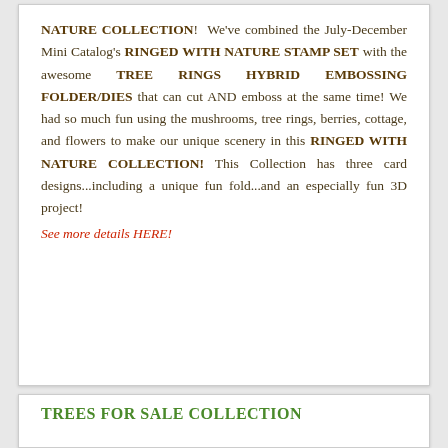NATURE COLLECTION! We've combined the July-December Mini Catalog's RINGED WITH NATURE STAMP SET with the awesome TREE RINGS HYBRID EMBOSSING FOLDER/DIES that can cut AND emboss at the same time! We had so much fun using the mushrooms, tree rings, berries, cottage, and flowers to make our unique scenery in this RINGED WITH NATURE COLLECTION! This Collection has three card designs...including a unique fun fold...and an especially fun 3D project!
See more details HERE!
TREES FOR SALE COLLECTION